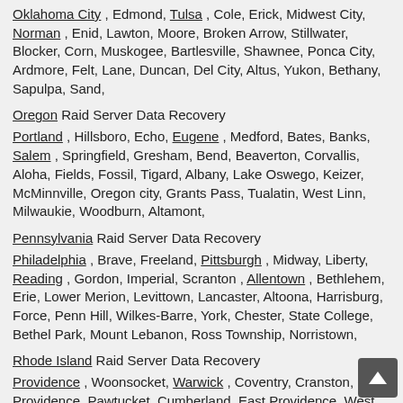Oklahoma City, Edmond, Tulsa, Cole, Erick, Midwest City, Norman, Enid, Lawton, Moore, Broken Arrow, Stillwater, Blocker, Corn, Muskogee, Bartlesville, Shawnee, Ponca City, Ardmore, Felt, Lane, Duncan, Del City, Altus, Yukon, Bethany, Sapulpa, Sand,
Oregon Raid Server Data Recovery
Portland, Hillsboro, Echo, Eugene, Medford, Bates, Banks, Salem, Springfield, Gresham, Bend, Beaverton, Corvallis, Aloha, Fields, Fossil, Tigard, Albany, Lake Oswego, Keizer, McMinnville, Oregon city, Grants Pass, Tualatin, West Linn, Milwaukie, Woodburn, Altamont,
Pennsylvania Raid Server Data Recovery
Philadelphia, Brave, Freeland, Pittsburgh, Midway, Liberty, Reading, Gordon, Imperial, Scranton, Allentown, Bethlehem, Erie, Lower Merion, Levittown, Lancaster, Altoona, Harrisburg, Force, Penn Hill, Wilkes-Barre, York, Chester, State College, Bethel Park, Mount Lebanon, Ross Township, Norristown,
Rhode Island Raid Server Data Recovery
Providence, Woonsocket, Warwick, Coventry, Cranston, North Providence, Pawtucket, Cumberland, East Providence, West Warwick, Newport, Bristol, Central Falls, Westerly, Valley Falls, Barrington, Newport East, Greenville, Wakefield, Foster, Greene, Riverside,